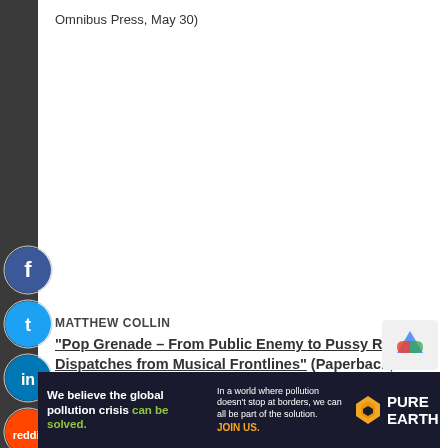Omnibus Press, May 30)
[Figure (illustration): Social media share icons (Facebook, Twitter, LinkedIn, Reddit, Email) arranged vertically on dark left sidebar]
MATTHEW COLLIN
“Pop Grenade – From Public Enemy to Pussy Riot: Dispatches from Musical Frontlines” (Paperback; Zero Books, May 29)
[Figure (illustration): reCAPTCHA badge partially visible in lower right]
[Figure (illustration): Advertisement banner: Pure Earth pollution campaign - 'We believe the global pollution crisis can be solved. In a world where pollution doesn't stop at borders, we can all be part of the solution. JOIN US. PURE EARTH']